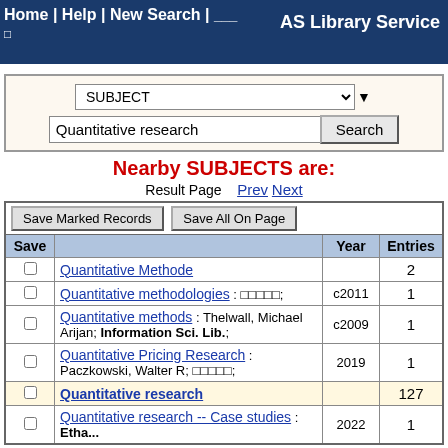Home | Help | New Search | 한국어 
□  AS Library Service
| SUBJECT dropdown | Search input: Quantitative research | Search button |
| --- | --- | --- |
Nearby SUBJECTS are:
Result Page  Prev Next
| Save |  | Year | Entries |
| --- | --- | --- | --- |
| ☐ | Quantitative Methode |  | 2 |
| ☐ | Quantitative methodologies : □□□□□; | c2011 | 1 |
| ☐ | Quantitative methods : Thelwall, Michael Arijan; Information Sci. Lib.; | c2009 | 1 |
| ☐ | Quantitative Pricing Research : Paczkowski, Walter R; □□□□□; | 2019 | 1 |
| ☐ | Quantitative research |  | 127 |
| ☐ | Quantitative research -- Case studies : Ethan... | 2022 | 1 |